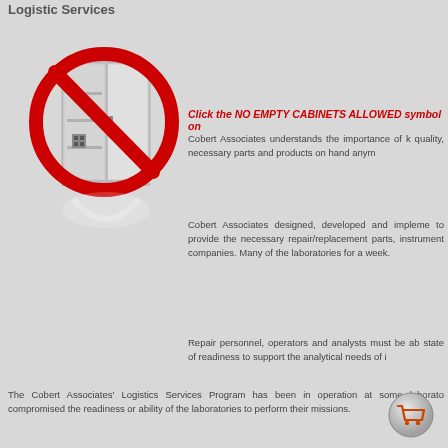Logistic Services
[Figure (illustration): A metal cabinet/locker with shelves shown inside, overlaid with a large red circle-slash 'no' symbol, indicating no empty cabinets allowed. Below the cabinet is a faint reflection.]
Click the NO EMPTY CABINETS ALLOWED symbol on
Cobert Associates understands the importance of k quality, necessary parts and products on hand anym
Cobert Associates designed, developed and impleme to provide the necessary repair/replacement parts, instrument companies. Many of the laboratories for a week.
Repair personnel, operators and analysts must be ab state of readiness to support the analytical needs of i
The Cobert Associates' Logistics Services Program has been in operation at some laborato compromised the readiness or ability of the laboratories to perform their missions.
[Figure (illustration): A small shopping cart icon in a circular silver/metallic button at the bottom right corner.]